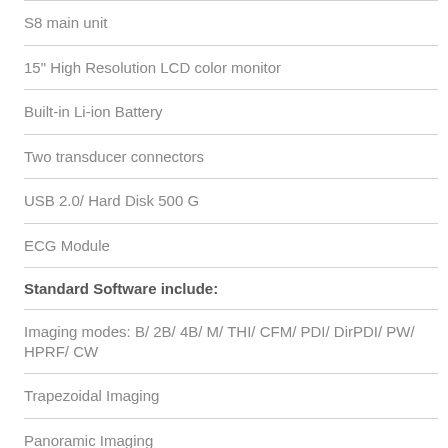S8 main unit
15" High Resolution LCD color monitor
Built-in Li-ion Battery
Two transducer connectors
USB 2.0/ Hard Disk 500 G
ECG Module
Standard Software include:
Imaging modes: B/ 2B/ 4B/ M/ THI/ CFM/ PDI/ DirPDI/ PW/ HPRF/ CW
Trapezoidal Imaging
Panoramic Imaging